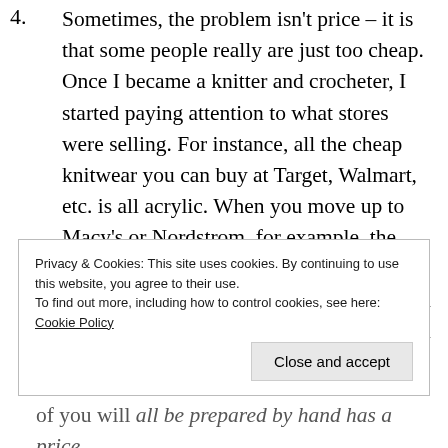Sometimes, the problem isn't price – it is that some people really are just too cheap. Once I became a knitter and crocheter, I started paying attention to what stores were selling. For instance, all the cheap knitwear you can buy at Target, Walmart, etc. is all acrylic. When you move up to Macy's or Nordstrom, for example, the price goes up, but you start seeing fiber blends, like 10% wool, 90% acrylic. If you want a sweater made of completely natural fibers, you have to go to a high-end retailer like Saks or Neiman Marcus, where of course, you pay top dollar. The amount
Privacy & Cookies: This site uses cookies. By continuing to use this website, you agree to their use.
To find out more, including how to control cookies, see here: Cookie Policy
Close and accept
of you will be prepared by hand has a price,